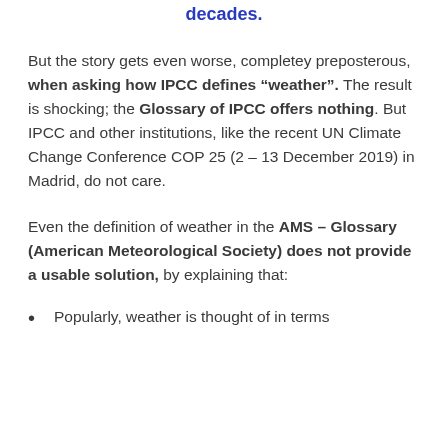decades.
But the story gets even worse, completey preposterous, when asking how IPCC defines “weather”. The result is shocking; the Glossary of IPCC offers nothing. But IPCC and other institutions, like the recent UN Climate Change Conference COP 25 (2 – 13 December 2019) in Madrid, do not care.
Even the definition of weather in the AMS – Glossary (American Meteorological Society) does not provide a usable solution, by explaining that:
Popularly, weather is thought of in terms